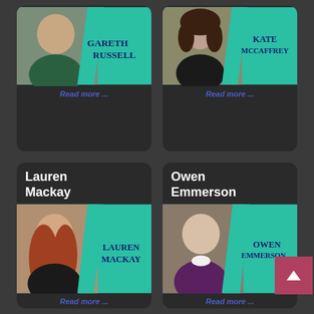[Figure (photo): Profile card for Gareth Russell with teal background and name overlay]
Read more ...
[Figure (photo): Profile card for Kate McCaffrey with teal background and name overlay]
Read more ...
Lauren Mackay
Owen Emmerson
[Figure (photo): Profile card for Lauren Mackay with teal background and name overlay]
[Figure (photo): Profile card for Owen Emmerson with teal background and name overlay]
Read more ...
Read more ...